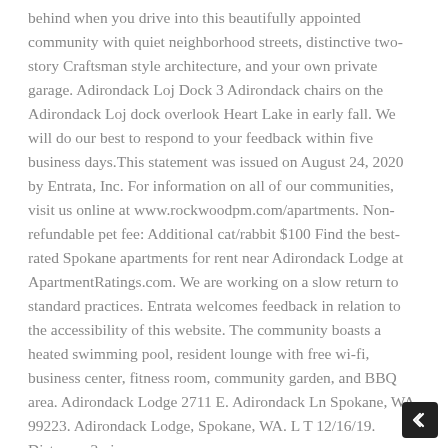behind when you drive into this beautifully appointed community with quiet neighborhood streets, distinctive two-story Craftsman style architecture, and your own private garage. Adirondack Loj Dock 3 Adirondack chairs on the Adirondack Loj dock overlook Heart Lake in early fall. We will do our best to respond to your feedback within five business days.This statement was issued on August 24, 2020 by Entrata, Inc. For information on all of our communities, visit us online at www.rockwoodpm.com/apartments. Non-refundable pet fee: Additional cat/rabbit $100 Find the best-rated Spokane apartments for rent near Adirondack Lodge at ApartmentRatings.com. We are working on a slow return to standard practices. Entrata welcomes feedback in relation to the accessibility of this website. The community boasts a heated swimming pool, resident lounge with free wi-fi, business center, fitness room, community garden, and BBQ area. Adirondack Lodge 2711 E. Adirondack Ln Spokane, WA 99223. Adirondack Lodge, Spokane, WA. L T 12/16/19. Distance: 2mi